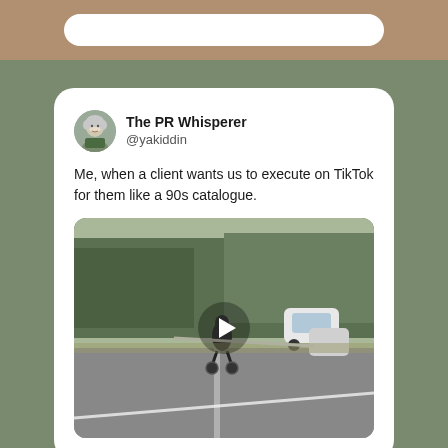[Figure (screenshot): Top navigation bar area with white rounded pill/search bar on brown/tan background]
[Figure (screenshot): Tweet card from @yakiddin (The PR Whisperer) with text 'Me, when a client wants us to execute on TikTok for them like a 90s catalogue.' and a video thumbnail showing a person riding a horse/bike on a road with trees and cars, with a play button overlay.]